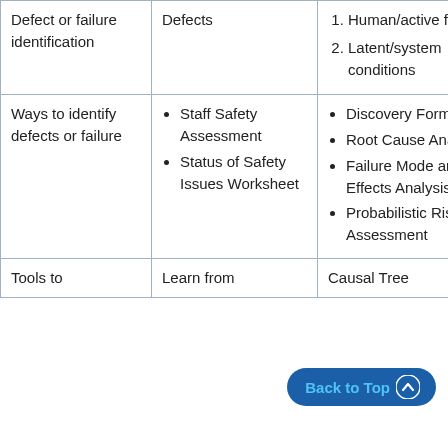| Defect or failure identification | Defects | 1. Human/active failure
2. Latent/system conditions |
| Ways to identify defects or failure | • Staff Safety Assessment
• Status of Safety Issues Worksheet | • Discovery Form
• Root Cause Analysis
• Failure Mode and Effects Analysis
• Probabilistic Risk Assessment |
| Tools to | Learn from | Causal Tree |